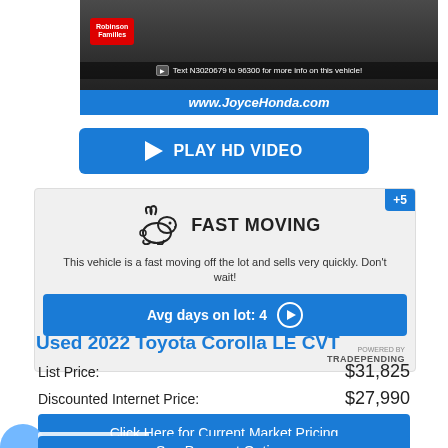[Figure (photo): Car dealership vehicle image showing a dark vehicle with a red Robinson Familles badge, a text bar reading 'Text N3020679 to 96300 for more info on this vehicle!' and a blue URL bar with www.JoyceHonda.com]
PLAY HD VIDEO
FAST MOVING
This vehicle is a fast moving off the lot and sells very quickly. Don't wait!
Avg days on lot: 4
POWERED BY TRADEPENDING
+5
Used 2022 Toyota Corolla LE CVT
List Price: $31,825
Discounted Internet Price: $27,990
Click Here for Current Market Pricing
Value Your Trade
See Payment Options